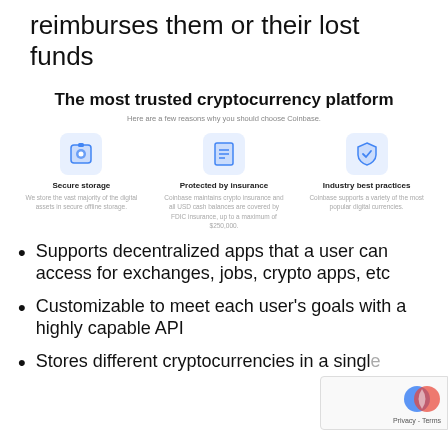reimburses them or their lost funds
The most trusted cryptocurrency platform
Here are a few reasons why you should choose Coinbase.
[Figure (infographic): Three icons in a row: Secure storage (blue lock icon), Protected by insurance (blue document icon), Industry best practices (blue shield icon), each with descriptive text below]
Supports decentralized apps that a user can access for exchanges, jobs, crypto apps, etc
Customizable to meet each user's goals with a highly capable API
Stores different cryptocurrencies in a single wallet